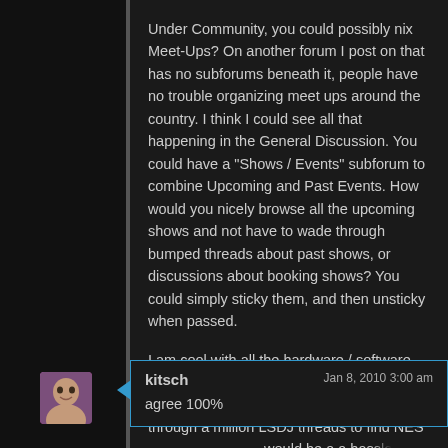Under Community, you could possibly nix Meet-Ups? On another forum I post on that has no subforums beneath it, people have no trouble organizing meet ups around the country. I think I could see all that happening in the General Discussion. You could have a "Shows / Events" subforum to combine Upcoming and Past Events. How would you nicely browse all the upcoming shows and not have to wade through bumped threads about past shows, or discussions about booking shows? You could simply sticky them, and then unsticky when passed.
I am cool with all the hardware / software sections, I do like different platforms / tools having their own corner. If I had to dig through a million LSDJ threads to find NES related ones, that would be a a hassle.
Good idea
kitsch
Jan 8, 2010 3:00 am
agree 100%